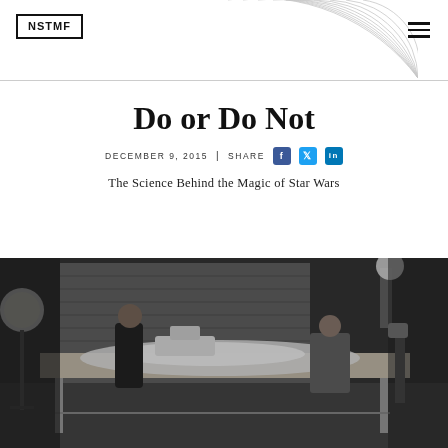NSTMF
Do or Do Not
DECEMBER 9, 2015  |  SHARE
The Science Behind the Magic of Star Wars
[Figure (photo): Black and white behind-the-scenes photo of a film set with crew members working around a large model spacecraft on a table, with studio lights on stands visible]